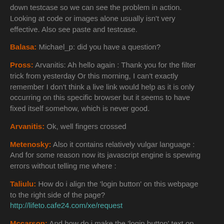down testcase so we can see the problem in action. Looking at code or images alone usually isn't very effective. Also see paste and testcase.
Balasa: Michael_p: did you have a question?
Pross: Arvanitis: Ah hello again : Thank you for the filter trick from yesterday Or this morning, I can't exactly remember I don't think a live link would help as it is only occurring on this specific browser but it seems to have fixed itself somehow, which is never good.
Arvanitis: Ok, well fingers crossed
Metenosky: Also it contains relatively vulgar language : And for some reason now its javascript engine is spewing errors without telling me where :
Taliulu: How do i align the 'login button' on this webpage to the right side of the page? http://lifeto.cafe24.com/xe/request
Mccarson: And how do i make the 'login button' text on the login button to be right at the center *vertically*?